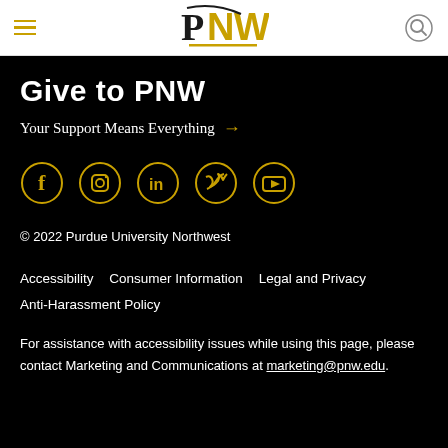PNW (Purdue University Northwest) navigation header with hamburger menu and search icon
Give to PNW
Your Support Means Everything →
[Figure (illustration): Row of five circular social media icons in gold outline style: Facebook, Instagram, LinkedIn, Twitter/X, YouTube]
© 2022 Purdue University Northwest
Accessibility   Consumer Information   Legal and Privacy   Anti-Harassment Policy
For assistance with accessibility issues while using this page, please contact Marketing and Communications at marketing@pnw.edu.